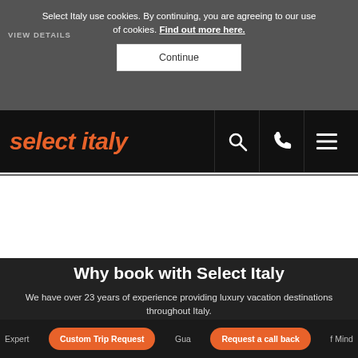Select Italy use cookies. By continuing, you are agreeing to our use of cookies. Find out more here.
Continue
select italy
[Figure (screenshot): White/blank area placeholder image region]
Why book with Select Italy
We have over 23 years of experience providing luxury vacation destinations throughout Italy.
Our industry expertise, exclusive access to accommodations, handpicked tour guides, and unique vacation destinations differentiates Select Italy and allows us to create the best guest experience for you.
Custom Trip Request
Request a call back
Expert... Gua... f Mind